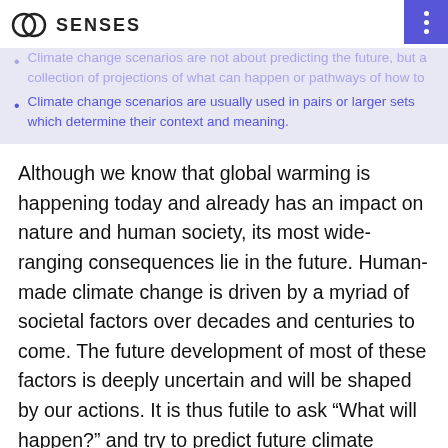SENSES
Climate change scenarios are not about predicting the future, but a collection of projections of what can happen or pathways of how to reach certain goals.
Climate change scenarios are usually used in pairs or larger sets which determine their context and meaning.
Although we know that global warming is happening today and already has an impact on nature and human society, its most wide-ranging consequences lie in the future. Human-made climate change is driven by a myriad of societal factors over decades and centuries to come. The future development of most of these factors is deeply uncertain and will be shaped by our actions. It is thus futile to ask “What will happen?” and try to predict future climate change. But the future, while inherently uncertain, is not entirely unknowable. Scenarios can be used to explore “What can happen?” and even “What should happen?” given the fact that we are able to shape our future.